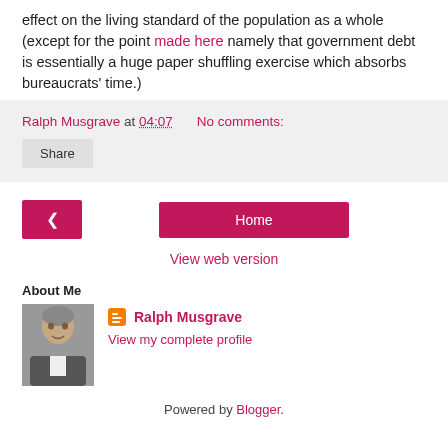effect on the living standard of the population as a whole (except for the point made here namely that government debt is essentially a huge paper shuffling exercise which absorbs bureaucrats' time.)
Ralph Musgrave at 04:07   No comments:
Share
< Home View web version
About Me
Ralph Musgrave
View my complete profile
Powered by Blogger.